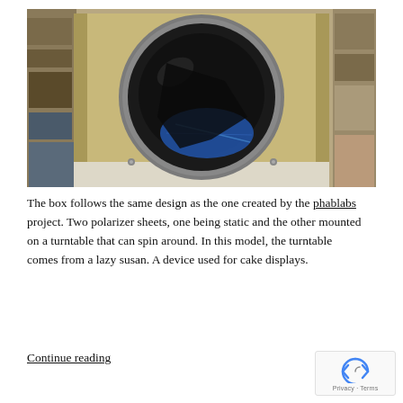[Figure (photo): A wooden box with a large circular opening covered by a dark polarizer sheet, with another blue disc visible inside. The box is photographed in a workshop/lab setting with shelves visible in the background.]
The box follows the same design as the one created by the phablabs project. Two polarizer sheets, one being static and the other mounted on a turntable that can spin around. In this model, the turntable comes from a lazy susan. A device used for cake displays.
Continue reading